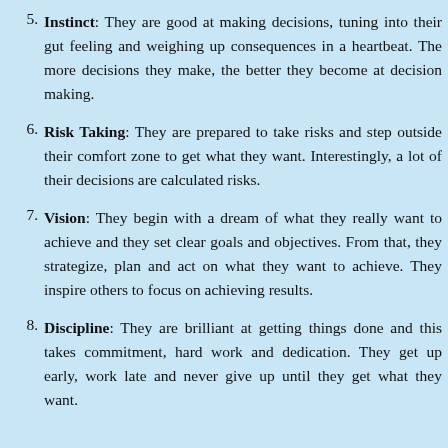Instinct: They are good at making decisions, tuning into their gut feeling and weighing up consequences in a heartbeat. The more decisions they make, the better they become at decision making.
Risk Taking: They are prepared to take risks and step outside their comfort zone to get what they want. Interestingly, a lot of their decisions are calculated risks.
Vision: They begin with a dream of what they really want to achieve and they set clear goals and objectives. From that, they strategize, plan and act on what they want to achieve. They inspire others to focus on achieving results.
Discipline: They are brilliant at getting things done and this takes commitment, hard work and dedication. They get up early, work late and never give up until they get what they want.